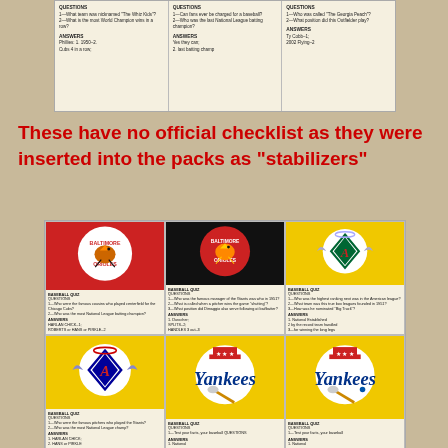[Figure (photo): Scanned image of three vintage baseball quiz cards arranged in a row, showing trivia questions and answers on cream/white background with small text.]
These have no official checklist as they were inserted into the packs as "stabilizers"
[Figure (photo): Grid of six vintage baseball quiz cards showing team logos: two Baltimore Orioles cards (red and black backgrounds), one California Angels on yellow, two more Angels/Yankees on yellow background with baseball quiz questions and answers printed below each logo.]